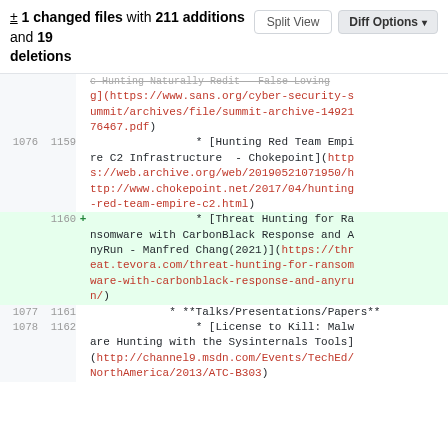± 1 changed files with 211 additions and 19 deletions
diff content showing lines 1076-1162 of a markdown file with code diff view